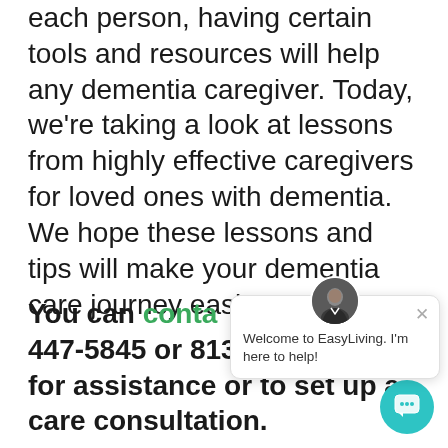each person, having certain tools and resources will help any dementia caregiver. Today, we're taking a look at lessons from highly effective caregivers for loved ones with dementia. We hope these lessons and tips will make your dementia care journey easier.
You can contact us at (727-447-5845 or 813-333-5020) for assistance or to set up a care consultation.
[Figure (screenshot): Chat popup widget showing an avatar of a man in a suit, an X close button, and the message 'Welcome to EasyLiving. I'm here to help!' along with a teal circular chat launcher button in the bottom-right corner.]